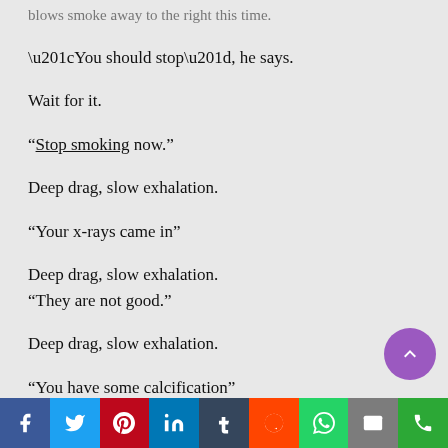blows smoke away to the right this time.
“You should stop”, he says.
Wait for it.
“Stop smoking now.”
Deep drag, slow exhalation.
“Your x-rays came in”
Deep drag, slow exhalation.
“They are not good.”
Deep drag, slow exhalation.
“You have some calcification”
Social share bar: Facebook, Twitter, Pinterest, LinkedIn, Tumblr, Reddit, WhatsApp, Email, Phone